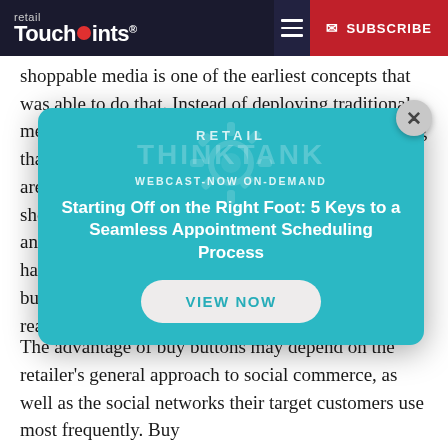retail TouchPoints® | ☰ | ✉ SUBSCRIBE
shoppable media is one of the earliest concepts that was able to do that. Instead of deploying traditional media designed to drive brand awareness, and hoping that the consumer will have some recall while they are in the retail location, we were able to serve them shoppable media. If it resonated with the consumer and they wanted to act on it now, they would then have the opportunity to do that. We would see buy buttons as a natural extension of this into the social realm."
[Figure (infographic): Retail ThinkTank webcast modal overlay with teal background, gear watermark, title 'Starting Off on the Right Foot: 5 Keys to a Seamless Appointment Scheduling Process', 'WEBCAST-NOW ON-DEMAND' label, and 'VIEW NOW' button. Close (X) button in top-right corner.]
The advantage of buy buttons may depend on the retailer's general approach to social commerce, as well as the social networks their target customers use most frequently. Buy